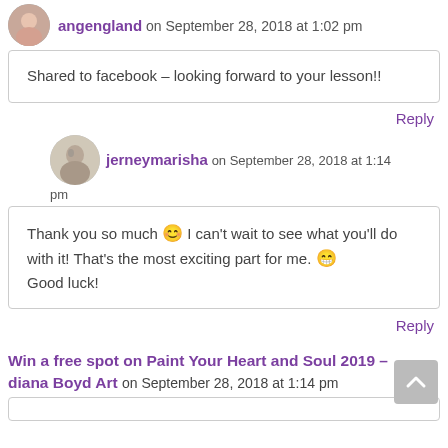angengland on September 28, 2018 at 1:02 pm
Shared to facebook – looking forward to your lesson!!
Reply
[Figure (photo): Avatar photo of jerneymarisha]
jerneymarisha on September 28, 2018 at 1:14 pm
Thank you so much 😊 I can't wait to see what you'll do with it! That's the most exciting part for me. 😁 Good luck!
Reply
Win a free spot on Paint Your Heart and Soul 2019 – diana Boyd Art on September 28, 2018 at 1:14 pm